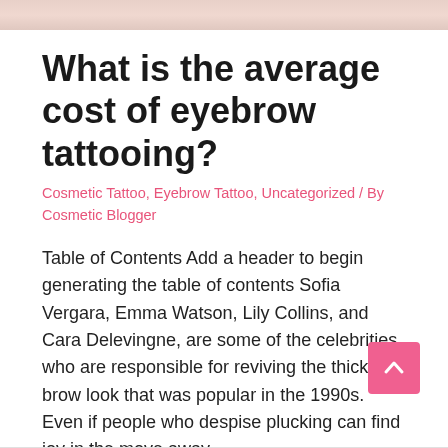[Figure (photo): Cropped photo strip at top of page showing a person's face/skin, pink tones, partially visible]
What is the average cost of eyebrow tattooing?
Cosmetic Tattoo, Eyebrow Tattoo, Uncategorized / By Cosmetic Blogger
Table of Contents Add a header to begin generating the table of contents Sofia Vergara, Emma Watson, Lily Collins, and Cara Delevingne, are some of the celebrities who are responsible for reviving the thicker brow look that was popular in the 1990s. Even if people who despise plucking can find joy in the move away …
Read More »